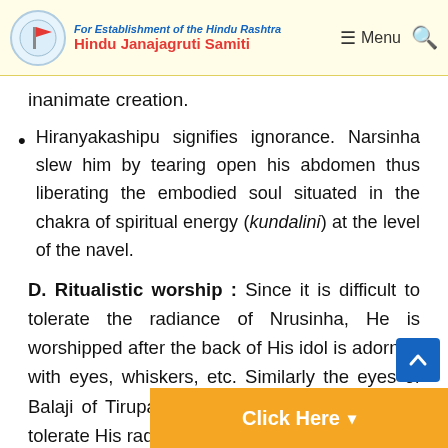For Establishment of the Hindu Rashtra — Hindu Janajagruti Samiti | Menu
inanimate creation.
Hiranyakashipu signifies ignorance. Narsinha slew him by tearing open his abdomen thus liberating the embodied soul situated in the chakra of spiritual energy (kundalini) at the level of the navel.
D. Ritualistic worship :
Since it is difficult to tolerate the radiance of Nrusinha, He is worshipped after the back of His idol is adorned with eyes, whiskers, etc. Similarly the eyes of Balaji of Tirupati are half open as one cannot tolerate His radiance.
E. Nara-Naray...
Click Here